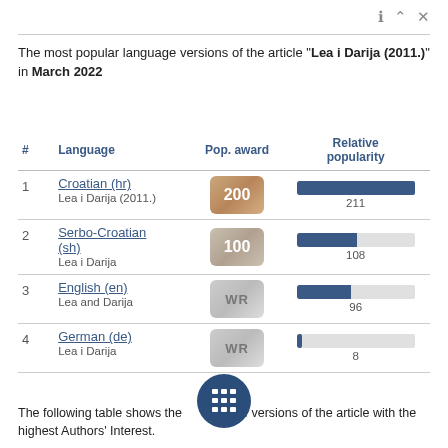The most popular language versions of the article "Lea i Darija (2011.)" in March 2022
| # | Language | Pop. award | Relative popularity |
| --- | --- | --- | --- |
| 1 | Croatian (hr)
Lea i Darija (2011.) | 200 | 211 |
| 2 | Serbo-Croatian (sh)
Lea i Darija | 100 | 108 |
| 3 | English (en)
Lea and Darija | WR | 96 |
| 4 | German (de)
Lea i Darija | WR | 8 |
The following table shows the language versions of the article with the highest Authors' Interest.